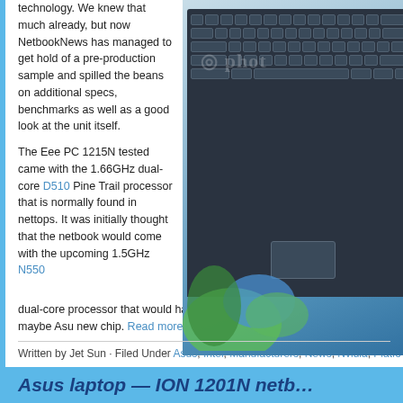technology. We knew that much already, but now NetbookNews has managed to get hold of a pre-production sample and spilled the beans on additional specs, benchmarks as well as a good look at the unit itself.
[Figure (photo): Asus Eee PC 1215N netbook laptop with keyboard visible, placed on a colorful green/blue leaf-patterned background, with a stock photo watermark overlay]
The Eee PC 1215N tested came with the 1.66GHz dual-core D510 Pine Trail processor that is normally found in nettops. It was initially thought that the netbook would come with the upcoming 1.5GHz N550 dual-core processor that would have had greater power efficiency, but maybe Asus new chip. Read more
Written by Jet Sun · Filed Under Asus, Intel, Manufacturers, News, Nvidia, Platfo
Asus laptop — ION 1201N netb...